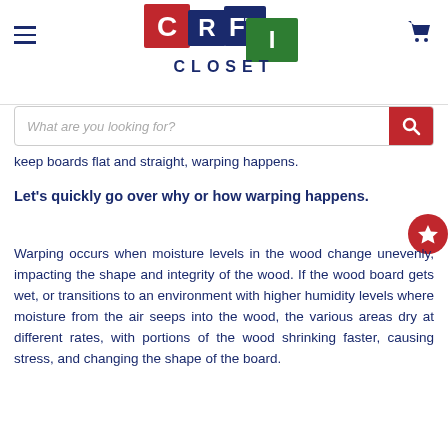Craft Closet
keep boards flat and straight, warping happens.
Let's quickly go over why or how warping happens.
Warping occurs when moisture levels in the wood change unevenly, impacting the shape and integrity of the wood. If the wood board gets wet, or transitions to an environment with higher humidity levels where moisture from the air seeps into the wood, the various areas dry at different rates, with portions of the wood shrinking faster, causing stress, and changing the shape of the board.